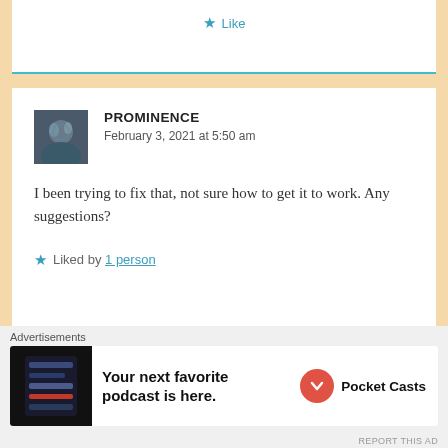Like
PROMINENCE
February 3, 2021 at 5:50 am
I been trying to fix that, not sure how to get it to work. Any suggestions?
Liked by 1 person
PARNEETSACHDEV
Advertisements
Your next favorite podcast is here.
Pocket Casts
REPORT THIS AD